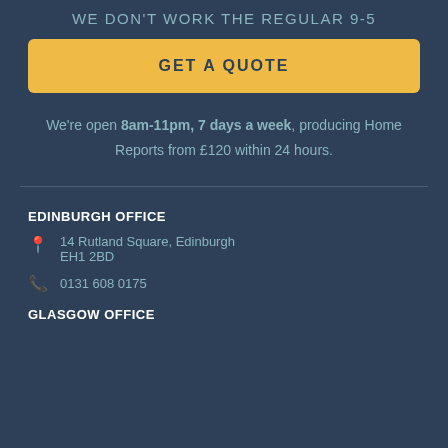WE DON'T WORK THE REGULAR 9-5
GET A QUOTE
We're open 8am-11pm, 7 days a week, producing Home Reports from £120 within 24 hours.
EDINBURGH OFFICE
14 Rutland Square, Edinburgh EH1 2BD
0131 608 0175
GLASGOW OFFICE